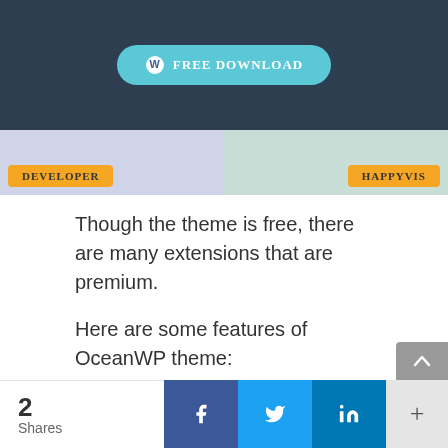[Figure (screenshot): Screenshot of OceanWP theme page showing a FREE DOWNLOAD button on dark background, and two panels (DEVELOPER and HAPPYVIS) below on light colored backgrounds]
Though the theme is free, there are many extensions that are premium.
Here are some features of OceanWP theme:
Fully Responsive.
Fast Load Time.
eCommerce Ready.
checkSearch Engine Optimized.
checkTranslation Ready.
2 Shares | Facebook | Twitter | LinkedIn | +